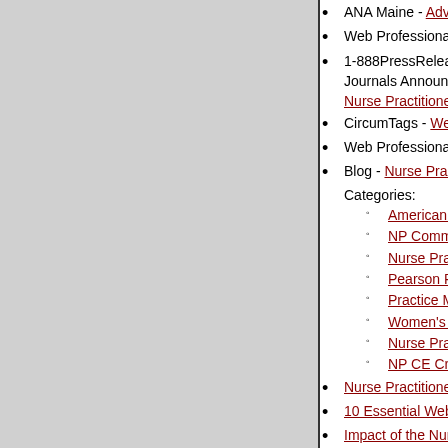ANA Maine - Advance Practice Nurses C...
Web Professionals - Nurse Practitioner Je...
1-888PressRelease - Leading Publisher of Journals Announces the Launch of the American Nurse Practitioners Website
CircumTags - WebNPOnline.com
Web Professionals - Nurse Practitioner M...
Blog - Nurse Practitioner News and Artic... Categories: American Journal for Nurse Practi..., NP Communications, Nurse Practitioner World News, Pearson Report, Practice Management, Women's Health Care Journal, Nurse Practitioner Conferences, NP CE Credits
Nurse Practitioners - Valuable but Underv...
10 Essential Web Tools for Nurse Practi...
Impact of the Nurse Practitioner
NPBO Announces National Nurse Practi...
Samford University Library - Pearson Rep...
A State-by-State Guide to Nurse Practitio...
Florida Panhandle Nurse Practitioner Coa...
The health care workforce: In critical cond... shortages, states consider roles of nurses...
The Future of Nursing and Holistic Care
Nurse Practitioners -- The Pearson Repo...